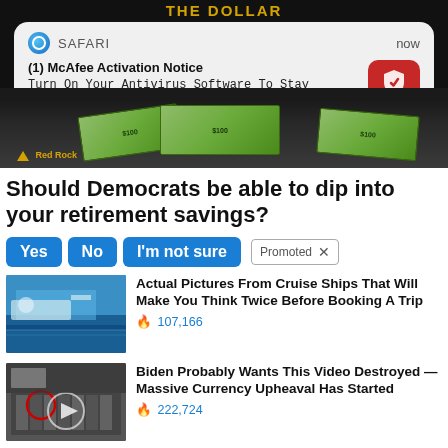[Figure (screenshot): Dark banner ad with 'THE DOLLAR' text in gold, showing money/dollar bills imagery with Red Rock logo at bottom left]
[Figure (screenshot): iOS Safari push notification: '(1) McAfee Activation Notice - Turn On Your Antivirus Software To Stay Protected' with McAfee red shield icon, timestamp 'now']
Should Democrats be able to dip into your retirement savings?
[Figure (infographic): Three blue pill-shaped buttons labeled 'Yes', 'No', 'I'm not sure' followed by a 'Promoted X' badge]
[Figure (photo): Thumbnail image of cruise ship deck from aerial angle with ocean water visible]
Actual Pictures From Cruise Ships That Will Make You Think Twice Before Booking A Trip
107,166
[Figure (photo): Thumbnail image of group of people in suits at formal event with circular overlay]
Biden Probably Wants This Video Destroyed — Massive Currency Upheaval Has Started
222,724